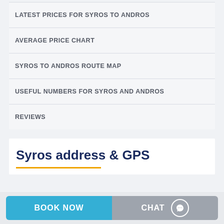LATEST PRICES FOR SYROS TO ANDROS
AVERAGE PRICE CHART
SYROS TO ANDROS ROUTE MAP
USEFUL NUMBERS FOR SYROS AND ANDROS
REVIEWS
Syros address & GPS
BOOK NOW
CHAT